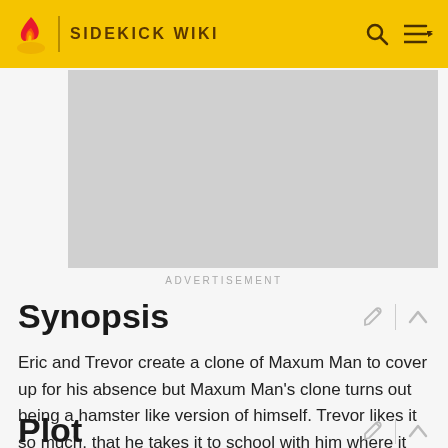SIDEKICK WIKI
[Figure (other): Gray advertisement placeholder rectangle]
ADVERTISEMENT
Synopsis
Eric and Trevor create a clone of Maxum Man to cover up for his absence but Maxum Man's clone turns out being a hamster like version of himself. Trevor likes it so much, that he takes it to school with him where it escapes and causes chaos all over the school.
Plot